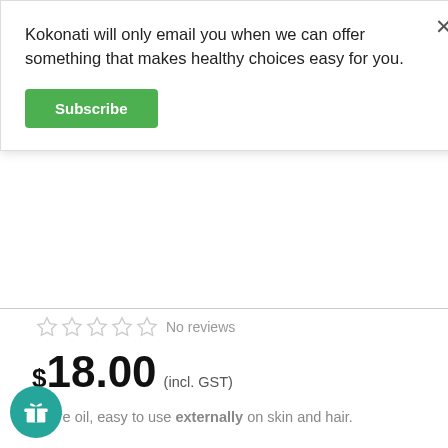Kokonati will only email you when we can offer something that makes healthy choices easy for you.
Subscribe
No reviews
$18.00 (incl. GST)
Pure oil, easy to use externally on skin and hair.
Naturally processed and sustainably made in Sri Lanka!
Made from pure carrot infused in sunflower oil.
Zero Eco-Impact on waste- all bi-products and waste material are utilized in the